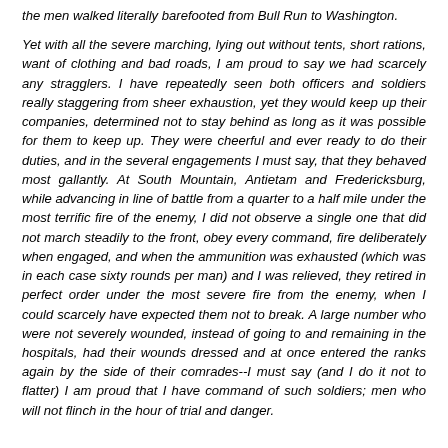the men walked literally barefooted from Bull Run to Washington.

Yet with all the severe marching, lying out without tents, short rations, want of clothing and bad roads, I am proud to say we had scarcely any stragglers. I have repeatedly seen both officers and soldiers really staggering from sheer exhaustion, yet they would keep up their companies, determined not to stay behind as long as it was possible for them to keep up. They were cheerful and ever ready to do their duties, and in the several engagements I must say, that they behaved most gallantly. At South Mountain, Antietam and Fredericksburg, while advancing in line of battle from a quarter to a half mile under the most terrific fire of the enemy, I did not observe a single one that did not march steadily to the front, obey every command, fire deliberately when engaged, and when the ammunition was exhausted (which was in each case sixty rounds per man) and I was relieved, they retired in perfect order under the most severe fire from the enemy, when I could scarcely have expected them not to break. A large number who were not severely wounded, instead of going to and remaining in the hospitals, had their wounds dressed and at once entered the ranks again by the side of their comrades--I must say (and I do it not to flatter) I am proud that I have command of such soldiers; men who will not flinch in the hour of trial and danger.